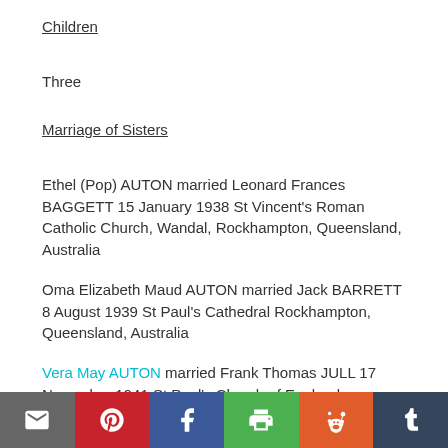Children
Three
Marriage of Sisters
Ethel (Pop) AUTON married Leonard Frances BAGGETT 15 January 1938 St Vincent's Roman Catholic Church, Wandal, Rockhampton, Queensland, Australia
Oma Elizabeth Maud AUTON married Jack BARRETT 8 August 1939 St Paul's Cathedral Rockhampton, Queensland, Australia
Vera May AUTON married Frank Thomas JULL 17 November 1941 St Paul's Church of England Cathedral,